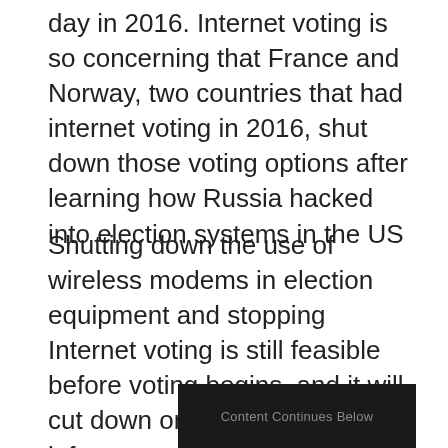day in 2016. Internet voting is so concerning that France and Norway, two countries that had internet voting in 2016, shut down those voting options after learning how Russia hacked into election systems in the US
Shutting down the use of wireless modems in election equipment and stopping Internet voting is still feasible before voting begins, and it will cut down on the voting infrastructure by orders of magnitude, Greenhalgh says. “Both can be their own avenue to vote total compromise.”
[Figure (other): Dark advertisement banner with text 'Content Continues Below']